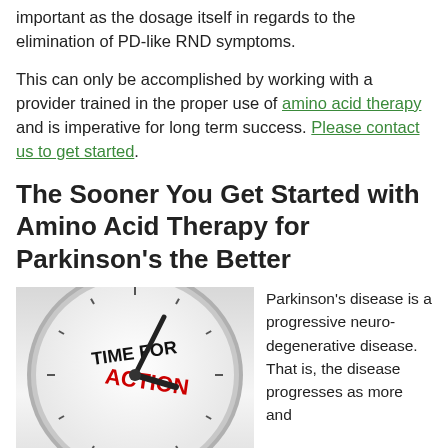important as the dosage itself in regards to the elimination of PD-like RND symptoms.
This can only be accomplished by working with a provider trained in the proper use of amino acid therapy and is imperative for long term success. Please contact us to get started.
The Sooner You Get Started with Amino Acid Therapy for Parkinson’s the Better
[Figure (photo): Clock face with the text 'TIME FOR ACTION' written on it, clock hands visible, on a grey gradient background.]
Parkinson’s disease is a progressive neuro-degenerative disease. That is, the disease progresses as more and